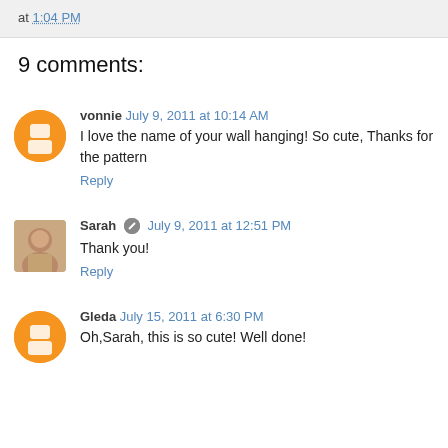at 1:04 PM
9 comments:
vonnie July 9, 2011 at 10:14 AM
I love the name of your wall hanging! So cute, Thanks for the pattern
Reply
Sarah July 9, 2011 at 12:51 PM
Thank you!
Reply
Gleda July 15, 2011 at 6:30 PM
Oh,Sarah, this is so cute! Well done!